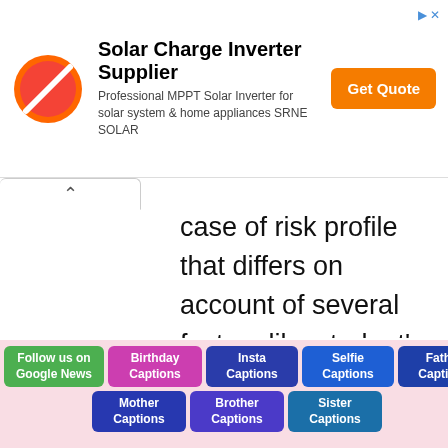[Figure (other): Advertisement banner for Solar Charge Inverter Supplier with logo, text, and Get Quote button]
case of risk profile that differs on account of several factors like student's academic background, financial strength of the co-borrower, loan repayment capability, credit history, employability of the chosen course from a selected college and destination country, collateral offered or not, serviceability of the loan via
Follow us on Google News | Birthday Captions | Insta Captions | Selfie Captions | Father Captions | Mother Captions | Brother Captions | Sister Captions